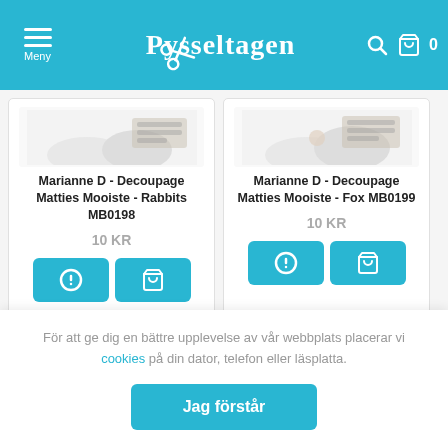Pysseltagen - Meny, search, cart
[Figure (screenshot): Product card image top-cropped for Marianne D - Decoupage Matties Mooiste - Rabbits MB0198]
Marianne D - Decoupage Matties Mooiste - Rabbits MB0198
10 KR
[Figure (screenshot): Product card image top-cropped for Marianne D - Decoupage Matties Mooiste - Fox MB0199]
Marianne D - Decoupage Matties Mooiste - Fox MB0199
10 KR
[Figure (screenshot): Bottom product card image strip partially visible]
För att ge dig en bättre upplevelse av vår webbplats placerar vi cookies på din dator, telefon eller läsplatta.
Jag förstår